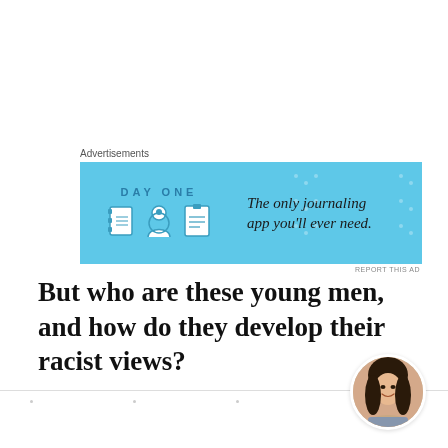[Figure (other): Advertisement banner for Day One journaling app with blue background, icons of a notebook, person, and notepad, and text 'The only journaling app you'll ever need.']
But who are these young men, and how do they develop their racist views?
[Figure (photo): Circular avatar photo of a young woman with dark hair, smiling, positioned in the bottom right area of the page.]